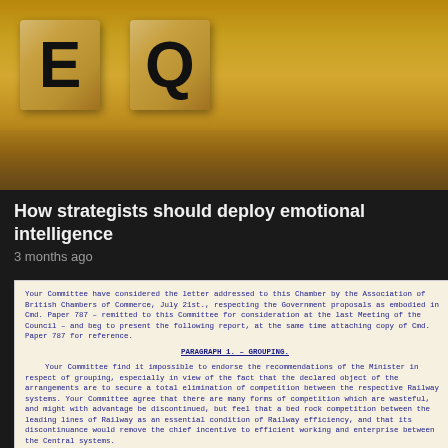[Figure (photo): Wooden scrabble-style letter blocks showing letters E and Q on a wooden surface background]
How strategists should deploy emotional intelligence
3 months ago
[Figure (photo): Scanned typewritten document excerpt showing text about Committee considering letter from Association of British Chambers of Commerce, and Paragraph 1 - Grouping discussing competition between Railway systems.]
Eric Geddes: The man behind the 1920s grouping of the